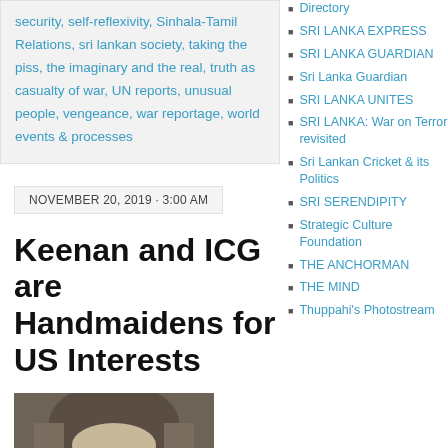security, self-reflexivity, Sinhala-Tamil Relations, sri lankan society, taking the piss, the imaginary and the real, truth as casualty of war, UN reports, unusual people, vengeance, war reportage, world events & processes
Directory
SRI LANKA EXPRESS
SRI LANKA GUARDIAN
Sri Lanka Guardian
SRI LANKA UNITES
SRI LANKA: War on Terror revisited
Sri Lankan Cricket & its Politics
SRI SERENDIPITY
Strategic Culture Foundation
THE ANCHORMAN
THE MIND
Thuppahi's Photostream
NOVEMBER 20, 2019 · 3:00 AM
Keenan and ICG are Handmaidens for US Interests
[Figure (photo): Black and white or muted photo of a person, appears to be an older individual with long hair and glasses, looking downward.]